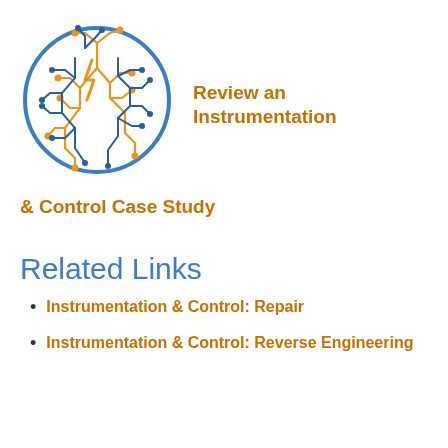[Figure (illustration): Circular circuit board logo with blue and orange circuit traces on white background]
Review an Instrumentation & Control Case Study
Related Links
Instrumentation & Control: Repair
Instrumentation & Control: Reverse Engineering